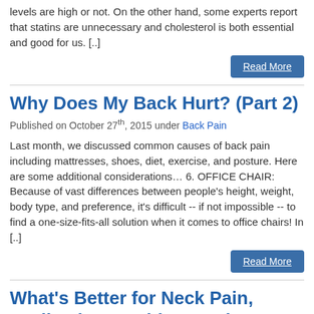levels are high or not. On the other hand, some experts report that statins are unnecessary and cholesterol is both essential and good for us. [..]
Read More
Why Does My Back Hurt? (Part 2)
Published on October 27th, 2015 under Back Pain
Last month, we discussed common causes of back pain including mattresses, shoes, diet, exercise, and posture. Here are some additional considerations… 6. OFFICE CHAIR: Because of vast differences between people's height, weight, body type, and preference, it's difficult -- if not impossible -- to find a one-size-fits-all solution when it comes to office chairs! In [..]
Read More
What's Better for Neck Pain, Medication or Chiropractic?
Published on October 27th, 2015 under Neck Pain